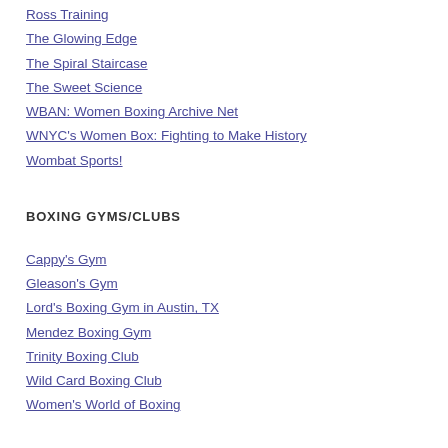Ross Training
The Glowing Edge
The Spiral Staircase
The Sweet Science
WBAN: Women Boxing Archive Net
WNYC's Women Box: Fighting to Make History
Wombat Sports!
BOXING GYMS/CLUBS
Cappy's Gym
Gleason's Gym
Lord's Boxing Gym in Austin, TX
Mendez Boxing Gym
Trinity Boxing Club
Wild Card Boxing Club
Women's World of Boxing